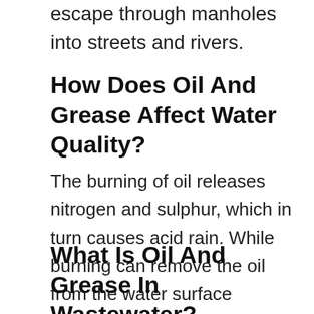escape through manholes into streets and rivers.
How Does Oil And Grease Affect Water Quality?
The burning of oil releases nitrogen and sulphur, which in turn causes acid rain. While burning can remove the oil from the water surface quickly and efficiently, it causes additional pollution.Jan 23, 2017
What Is Oil And Grease In Wastewater?
...